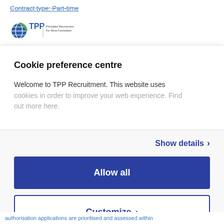Contract type: Part-time
[Figure (logo): TPP Recruitment logo — globe icon in blue/green with 'TPP' text and tagline]
Cookie preference centre
Welcome to TPP Recruitment. This website uses cookies in order to improve your web experience. Find out more here.
Show details >
Allow all
Customize >
Powered by Cookiebot by Usercentrics
authorisation applications are prioritised and assessed within